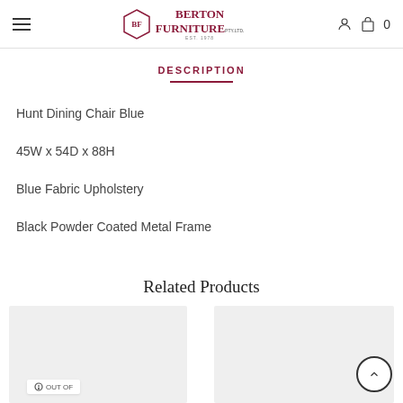Berton Furniture — navigation header with hamburger menu, logo, user icon, cart icon, and cart count 0
DESCRIPTION
Hunt Dining Chair Blue
45W x 54D x 88H
Blue Fabric Upholstery
Black Powder Coated Metal Frame
Related Products
[Figure (photo): Left product card thumbnail placeholder (grey rectangle) with 'OUT OF' text label]
[Figure (photo): Right product card thumbnail placeholder (grey rectangle)]